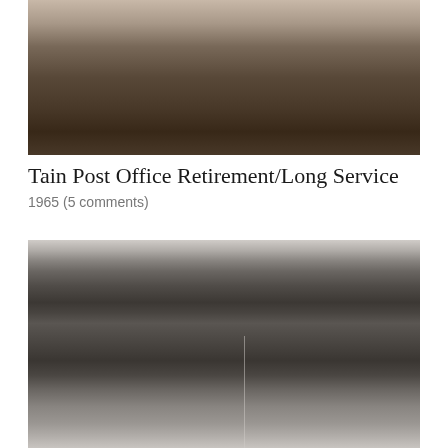[Figure (photo): Black and white photograph of several men in suits, some shaking hands, likely taken at a formal event or ceremony, circa 1965.]
Tain Post Office Retirement/Long Service
1965 (5 comments)
[Figure (photo): Black and white group photograph of young people, mostly boys, holding violins and string instruments. They appear to be a school orchestra or youth music ensemble.]